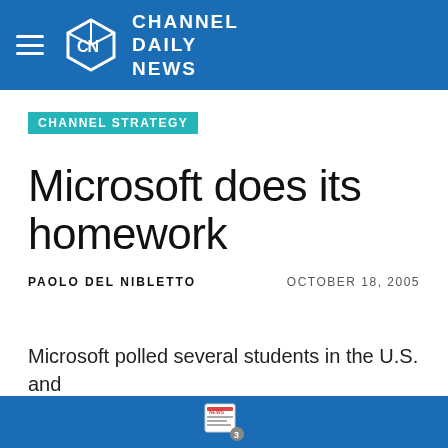CHANNEL DAILY NEWS
CHANNEL STRATEGY
Microsoft does its homework
PAOLO DEL NIBLETTO
OCTOBER 18, 2005
Microsoft polled several students in the U.S. and